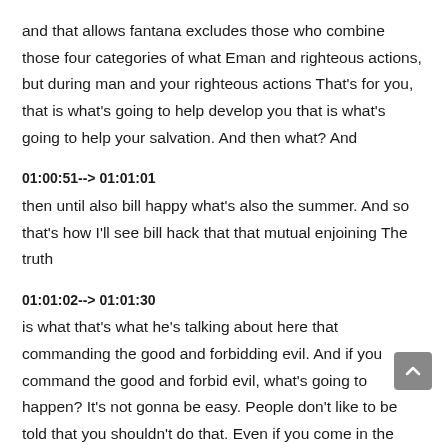and that allows fantana excludes those who combine those four categories of what Eman and righteous actions, but during man and your righteous actions That's for you, that is what's going to help develop you that is what's going to help your salvation. And then what? And
01:00:51--> 01:01:01
then until also bill happy what's also the summer. And so that's how I'll see bill hack that that mutual enjoining The truth
01:01:02--> 01:01:30
is what that's what he's talking about here that commanding the good and forbidding evil. And if you command the good and forbid evil, what's going to happen? It's not gonna be easy. People don't like to be told that you shouldn't do that. Even if you come in the best way